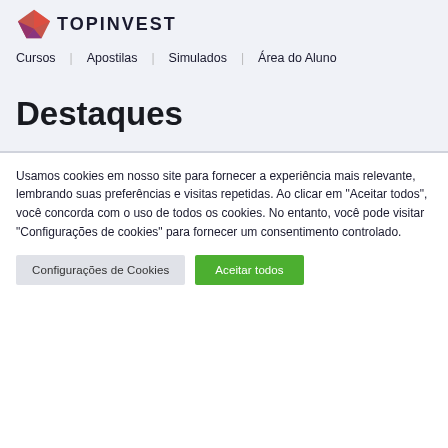[Figure (logo): TopInvest logo with a geometric diamond shape in red/pink/purple colors and the text TOPINVEST in dark uppercase letters]
Cursos   Apostilas   Simulados   Área do Aluno
Destaques
Usamos cookies em nosso site para fornecer a experiência mais relevante, lembrando suas preferências e visitas repetidas. Ao clicar em "Aceitar todos", você concorda com o uso de todos os cookies. No entanto, você pode visitar "Configurações de cookies" para fornecer um consentimento controlado.
Configurações de Cookies   Aceitar todos